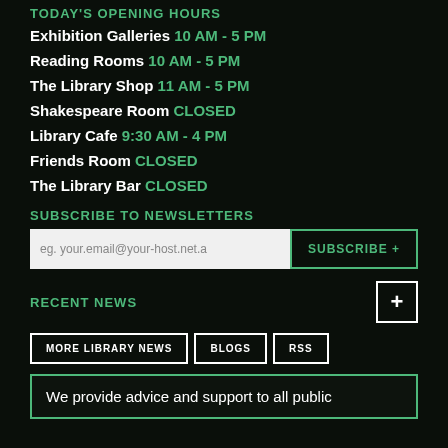TODAY'S OPENING HOURS
Exhibition Galleries 10 AM - 5 PM
Reading Rooms 10 AM - 5 PM
The Library Shop 11 AM - 5 PM
Shakespeare Room CLOSED
Library Cafe 9:30 AM - 4 PM
Friends Room CLOSED
The Library Bar CLOSED
SUBSCRIBE TO NEWSLETTERS
eg. your.email@your-host.net.a
RECENT NEWS
MORE LIBRARY NEWS
BLOGS
RSS
We provide advice and support to all public